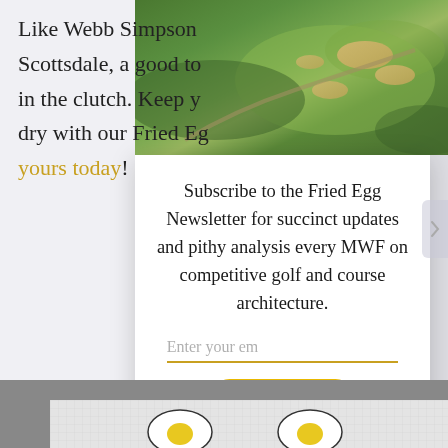[Figure (photo): Aerial view of a golf course with green fairways and sand bunkers]
Like Webb Simpson ... Scottsdale, a good to ... in the clutch. Keep y ... dry with our Fried Eg ... yours today!
[Figure (infographic): Newsletter subscription modal with text: Subscribe to the Fried Egg Newsletter for succinct updates and pithy analysis every MWF on competitive golf and course architecture. Email input field and Sign Up button.]
[Figure (photo): White golf towel with fried egg logo designs on a grey background]